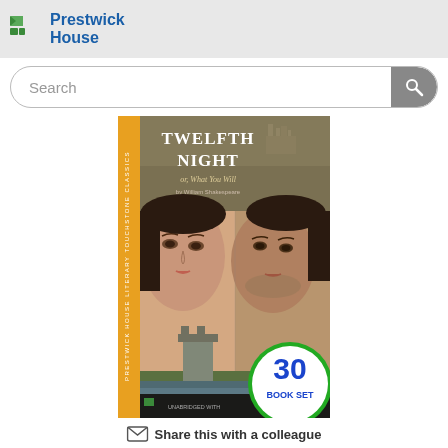Prestwick House
Search
[Figure (photo): Book cover of Twelfth Night or What You Will by William Shakespeare — Prestwick House Literary Touchstone Classics edition. Shows two overlapping faces (woman and man), a castle, and a '30 Book Set' badge. Text reads: TWELFTH NIGHT or, What You Will by William Shakespeare. UNABRIDGED WITH...]
Share this with a colleague